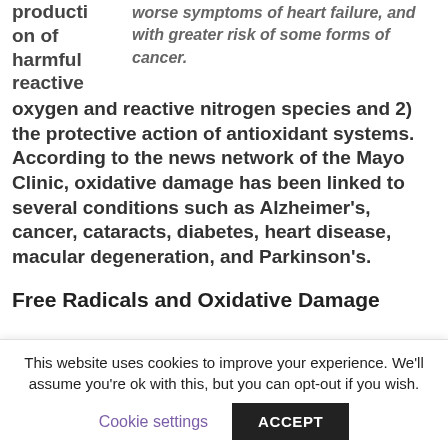production of harmful reactive oxygen and reactive nitrogen species and 2) the protective action of antioxidant systems. According to the news network of the Mayo Clinic, oxidative damage has been linked to several conditions such as Alzheimer's, cancer, cataracts, diabetes, heart disease, macular degeneration, and Parkinson's.
worse symptoms of heart failure, and with greater risk of some forms of cancer.
Free Radicals and Oxidative Damage
This website uses cookies to improve your experience. We'll assume you're ok with this, but you can opt-out if you wish.